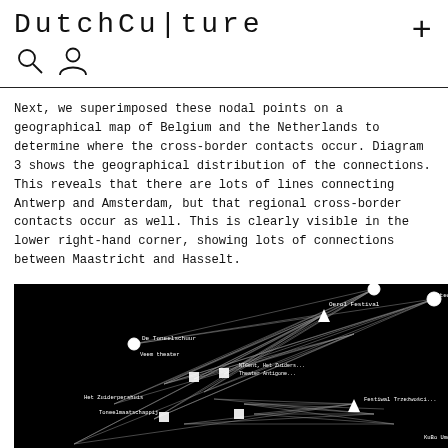DutchCu|ture
Next, we superimposed these nodal points on a geographical map of Belgium and the Netherlands to determine where the cross-border contacts occur. Diagram 3 shows the geographical distribution of the connections. This reveals that there are lots of lines connecting Antwerp and Amsterdam, but that regional cross-border contacts occur as well. This is clearly visible in the lower right-hand corner, showing lots of connections between Maastricht and Hasselt.
[Figure (network-graph): Black background network graph showing geographical connections between cities in Belgium and the Netherlands, with nodes (circles and squares) and connecting lines representing cross-border contacts between cities including Antwerp, Amsterdam, Maastricht, and Hasselt.]